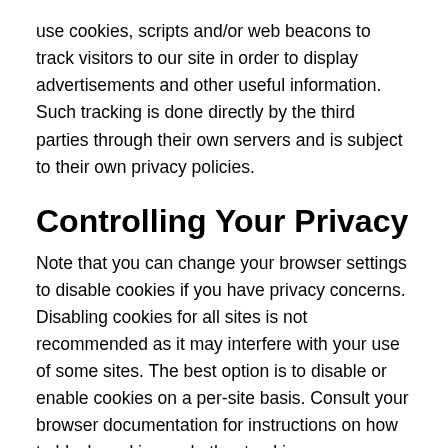use cookies, scripts and/or web beacons to track visitors to our site in order to display advertisements and other useful information. Such tracking is done directly by the third parties through their own servers and is subject to their own privacy policies.
Controlling Your Privacy
Note that you can change your browser settings to disable cookies if you have privacy concerns. Disabling cookies for all sites is not recommended as it may interfere with your use of some sites. The best option is to disable or enable cookies on a per-site basis. Consult your browser documentation for instructions on how to block cookies and other tracking mechanisms.
Special Note About Google